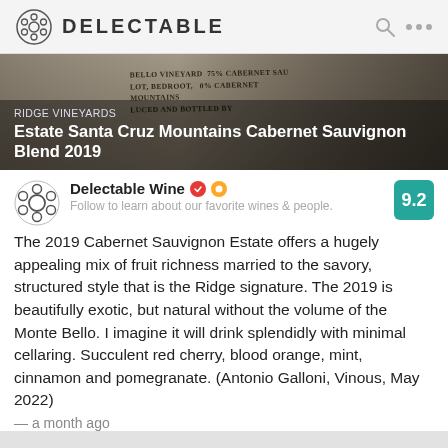DELECTABLE
[Figure (photo): Dark photo of a wine bottle label showing Ridge Vineyards text partially visible]
RIDGE VINEYARDS
Estate Santa Cruz Mountains Cabernet Sauvignon Blend 2019
Delectable Wine — Follow to learn about our favorite wines & people.
The 2019 Cabernet Sauvignon Estate offers a hugely appealing mix of fruit richness married to the savory, structured style that is the Ridge signature. The 2019 is beautifully exotic, but natural without the volume of the Monte Bello. I imagine it will drink splendidly with minimal cellaring. Succulent red cherry, blood orange, mint, cinnamon and pomegranate. (Antonio Galloni, Vinous, May 2022)
— a month ago
Rob liked this